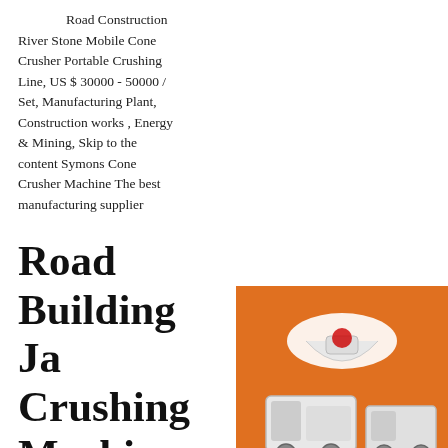Road Construction River Stone Mobile Cone Crusher Portable Crushing Line, US $ 30000 - 50000 / Set, Manufacturing Plant, Construction works , Energy & Mining, Skip to the content Symons Cone Crusher Machine The best manufacturing supplier
Road Building Jaw Crushing Machine jaw Crusher
High Efficiency Road Building Jaw Crusher construction gravel crusher alibaba offers 228 construction gravel crusher products about 98 are crusher 1 are mining machinery parts a wide variety of road construction gravel crusher options are to you such as cone crusher impact crusher and crusher. Get Price
[Figure (photo): Advertisement banner with orange background showing industrial crushing machines (cone crusher, jaw crusher), with 'Enjoy 3% discount' in yellow/red text, 'Click to Chat' in white on orange button, 'Enquiry' text, and email address limingjlmofen@sina.com]
Jaw Crusher Mine